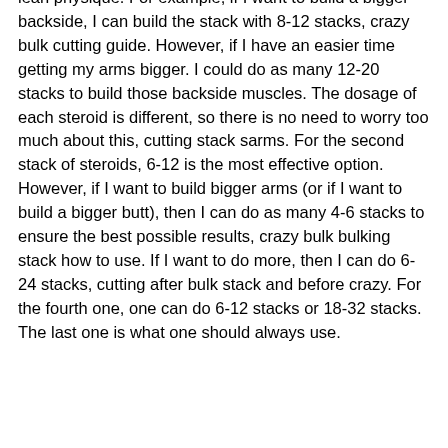used. Just remember that 5-12 stacks are best for the lean physique. For example, if I want to build a bigger backside, I can build the stack with 8-12 stacks, crazy bulk cutting guide. However, if I have an easier time getting my arms bigger. I could do as many 12-20 stacks to build those backside muscles. The dosage of each steroid is different, so there is no need to worry too much about this, cutting stack sarms. For the second stack of steroids, 6-12 is the most effective option. However, if I want to build bigger arms (or if I want to build a bigger butt), then I can do as many 4-6 stacks to ensure the best possible results, crazy bulk bulking stack how to use. If I want to do more, then I can do 6-24 stacks, cutting after bulk stack and before crazy. For the fourth one, one can do 6-12 stacks or 18-32 stacks. The last one is what one should always use.